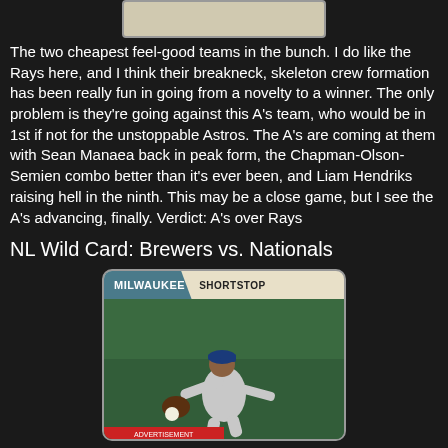[Figure (photo): Top portion of a baseball card, cropped, with beige/cream background visible at top of page]
The two cheapest feel-good teams in the bunch. I do like the Rays here, and I think their breakneck, skeleton crew formation has been really fun in going from a novelty to a winner. The only problem is they're going against this A's team, who would be in 1st if not for the unstoppable Astros. The A's are coming at them with Sean Manaea back in peak form, the Chapman-Olson-Semien combo better than it's ever been, and Liam Hendriks raising hell in the ninth. This may be a close game, but I see the A's advancing, finally. Verdict: A's over Rays
NL Wild Card: Brewers vs. Nationals
[Figure (photo): Vintage-style baseball card showing a Milwaukee Brewers shortstop player in fielding pose, wearing grey uniform and blue cap, with green background. Card has cream/beige border with 'MILWAUKEE' in teal banner and 'SHORTSTOP' text.]